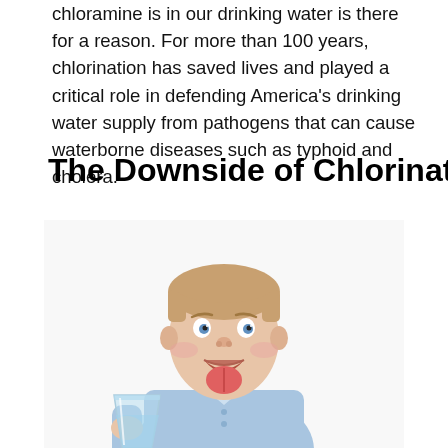chloramine is in our drinking water is there for a reason. For more than 100 years, chlorination has saved lives and played a critical role in defending America's drinking water supply from pathogens that can cause waterborne diseases such as typhoid and cholera.
The Downside of Chlorination
[Figure (photo): A young boy in a light blue button-up shirt making a disgusted face with his tongue out, holding a clear glass of water. White background.]